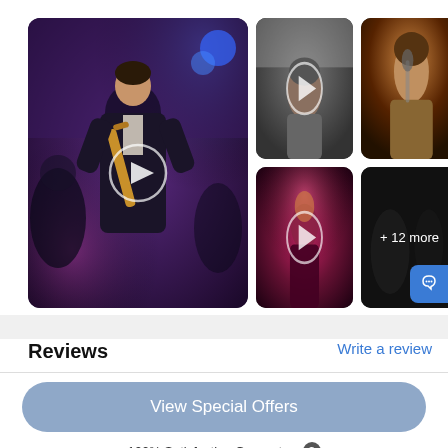[Figure (photo): Main large thumbnail showing a man in dark suit playing saxophone on stage with purple/blue stage lighting. A play button circle overlay is visible.]
[Figure (photo): Top center thumbnail: video thumbnail showing a man in gray shirt, play button overlay. Dark background.]
[Figure (photo): Top right thumbnail: photo of young man playing saxophone or singing near a microphone in warm lighting.]
[Figure (photo): Bottom center thumbnail: video thumbnail showing a musician on stage with red/pink lighting and play button overlay.]
[Figure (photo): Bottom right thumbnail: dark thumbnail with text '+ 12 more' indicating additional media items.]
Reviews
Write a review
View Special Offers
100% Satisfaction Guarantee